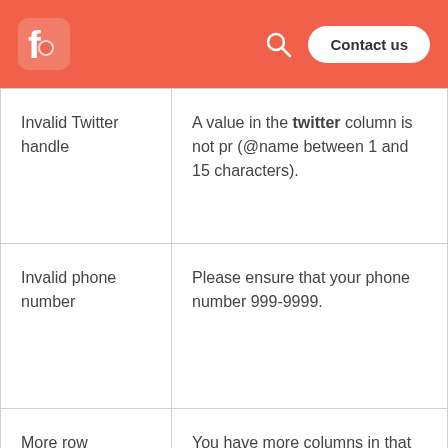Fieldbook — Contact us
| Invalid Twitter handle | A value in the twitter column is not properly formatted (@name between 1 and 15 characters). |
| Invalid phone number | Please ensure that your phone number is formatted like 999-9999. |
| More row columns | You have more columns in that row than... |